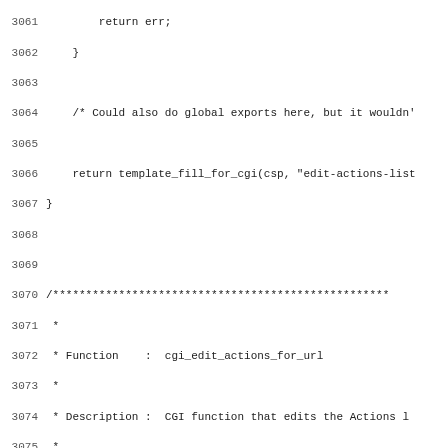Source code listing lines 3061-3092, showing C function cgi_edit_actions_for_url with comment block and function signature.